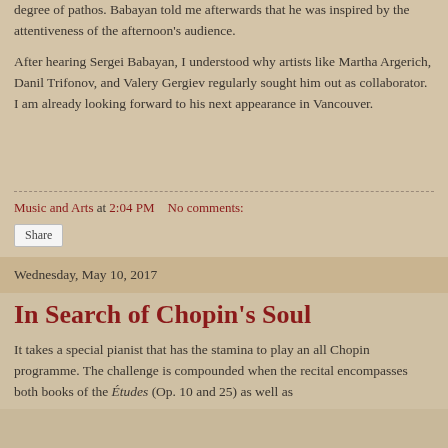degree of pathos. Babayan told me afterwards that he was inspired by the attentiveness of the afternoon's audience.
After hearing Sergei Babayan, I understood why artists like Martha Argerich, Danil Trifonov, and Valery Gergiev regularly sought him out as collaborator. I am already looking forward to his next appearance in Vancouver.
Music and Arts at 2:04 PM   No comments:
Share
Wednesday, May 10, 2017
In Search of Chopin's Soul
It takes a special pianist that has the stamina to play an all Chopin programme. The challenge is compounded when the recital encompasses both books of the Études (Op. 10 and 25) as well as